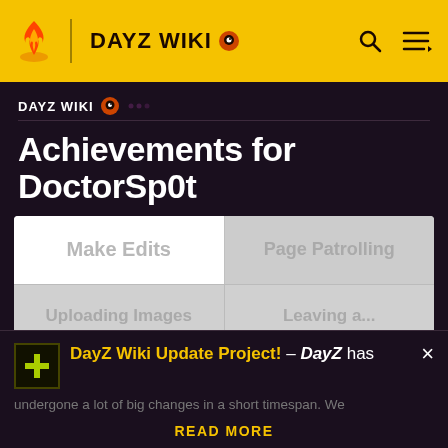DAYZ WIKI
DAYZ WIKI
Achievements for DoctorSp0t
[Figure (table-as-image): Achievement grid with faded/loading cells: Make Edits, Page Patrolling, Uploading Images, Leaving a..., Total Actions (Secret), Wikignome]
DayZ Wiki Update Project! – DayZ has undergone a lot of big changes in a short timespan. We
READ MORE